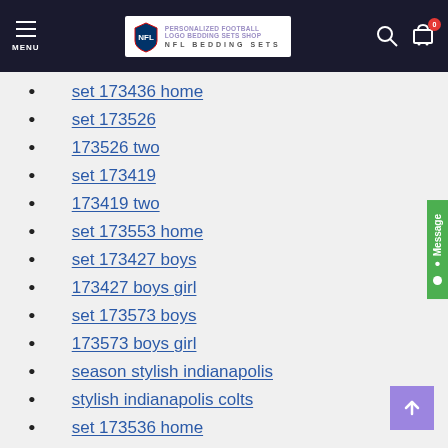MENU | PERSONALIZED FOOTBALL LOGO BEDDING SETS SHOP | NFL BEDDING SETS | Search | Cart (0)
set 173436 home
set 173526
173526 two
set 173419
173419 two
set 173553 home
set 173427 boys
173427 boys girl
set 173573 boys
173573 boys girl
season stylish indianapolis
stylish indianapolis colts
set 173536 home
set 173423
set 173531
set 173492 comforter
machine washable indianapolis
washable indianapolis colts